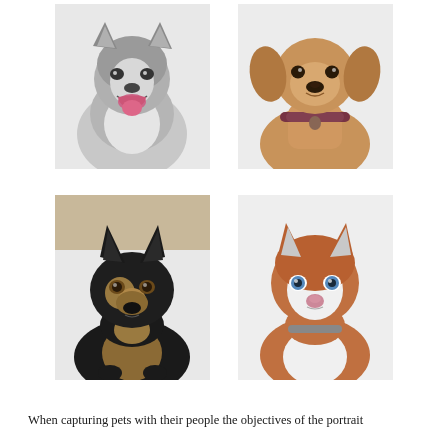[Figure (photo): Four dog portrait photographs arranged in a 2x2 grid. Top-left: a husky dog with grey and white fur, smiling with mouth open, snowy background. Top-right: a tan/brown dog with a collar, sitting against a snowy white background. Bottom-left: a German Shepherd with black and tan fur looking at the camera against a snowy background. Bottom-right: a Siberian Husky with brown/red and white fur with blue eyes against a snowy background.]
When capturing pets with their people the objectives of the portrait